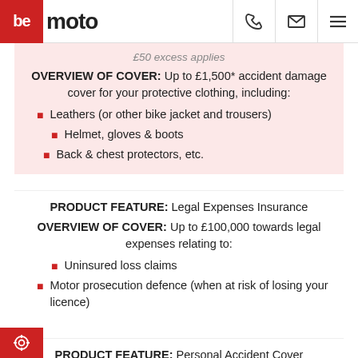bemoto — navigation bar with phone, email, and menu icons
£50 excess applies
OVERVIEW OF COVER: Up to £1,500* accident damage cover for your protective clothing, including:
Leathers (or other bike jacket and trousers)
Helmet, gloves & boots
Back & chest protectors, etc.
PRODUCT FEATURE: Legal Expenses Insurance
OVERVIEW OF COVER: Up to £100,000 towards legal expenses relating to:
Uninsured loss claims
Motor prosecution defence (when at risk of losing your licence)
PRODUCT FEATURE: Personal Accident Cover
OVERVIEW OF COVER: Up to £15,000 in the event of